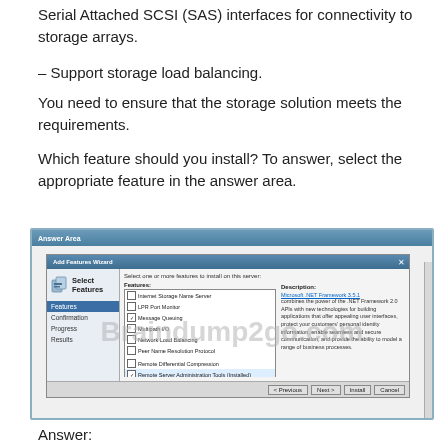Serial Attached SCSI (SAS) interfaces for connectivity to storage arrays.
– Support storage load balancing.
You need to ensure that the storage solution meets the requirements.
Which feature should you install? To answer, select the appropriate feature in the answer area.
[Figure (screenshot): Answer Area dialog showing the Add Features Wizard with Select Features screen. The wizard panel shows steps: Features (highlighted), Confirmation, Progress, Results. The features list includes: Internet Storage Name Server, LPR Port Monitor, Message Queuing, Multipath I/O, Network Load Balancing, Peer Name Resolution Protocol, Remote Differential Compression, Remote Server Administration Tools (installed), RPC over HTTP Proxy, Simple TCP/IP Services, SMTP Server, SNMP Services, Storage Manager for SANs, Subsystem for UNIX-based Applications. The description panel shows Microsoft .NET Framework 3.5.1 description. A watermark reads Braindump2go.com. Buttons at bottom: Previous, Next, Install, Cancel.]
Answer: